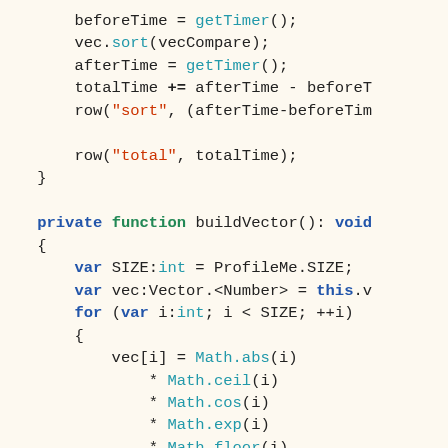Code snippet showing ActionScript/Flex code with sorting and buildVector function